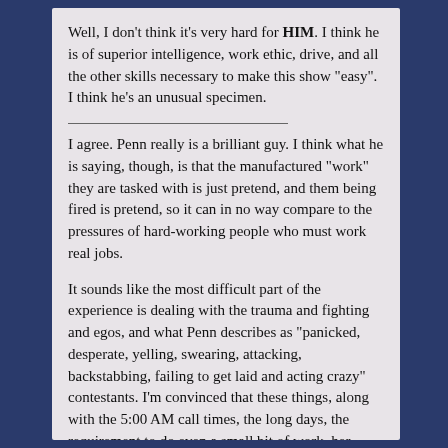Well, I don't think it's very hard for HIM. I think he is of superior intelligence, work ethic, drive, and all the other skills necessary to make this show "easy". I think he's an unusual specimen.
I agree. Penn really is a brilliant guy. I think what he is saying, though, is that the manufactured "work" they are tasked with is just pretend, and them being fired is pretend, so it can in no way compare to the pressures of hard-working people who must work real jobs.
It sounds like the most difficult part of the experience is dealing with the trauma and fighting and egos, and what Penn describes as "panicked, desperate, yelling, swearing, attacking, backstabbing, failing to get laid and acting crazy" contestants. I'm convinced that these things, along with the 5:00 AM call times, the long days, the requirement to do even a small bit of work, her inherent stupidity and ignorance, and her sense of entitlement will lead to meltdowns of